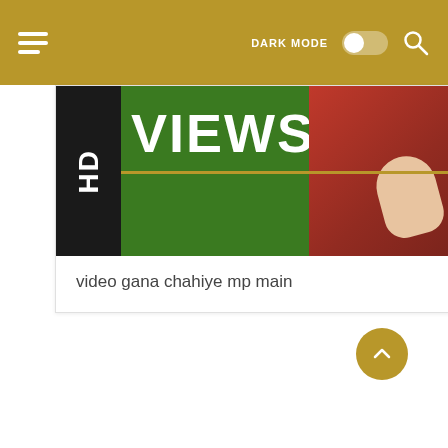DARK MODE [toggle] [search icon]
[Figure (screenshot): Video thumbnail showing 'VIEWS' text on green background with HD badge on left side and person in red clothing on right]
video gana chahiye mp main